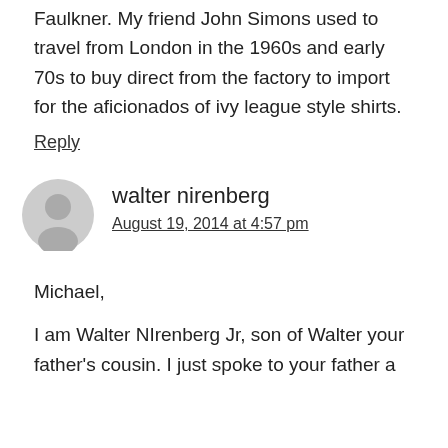Faulkner. My friend John Simons used to travel from London in the 1960s and early 70s to buy direct from the factory to import for the aficionados of ivy league style shirts.
Reply
walter nirenberg
August 19, 2014 at 4:57 pm
Michael,
I am Walter NIrenberg Jr, son of Walter your father's cousin. I just spoke to your father a